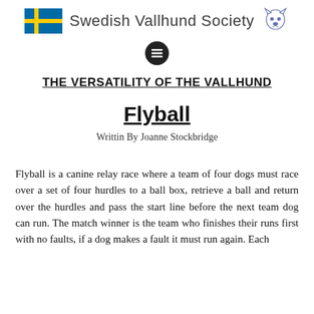Swedish Vallhund Society
THE VERSATILITY OF THE VALLHUND
Flyball
Writtin By Joanne Stockbridge
Flyball is a canine relay race where a team of four dogs must race over a set of four hurdles to a ball box, retrieve a ball and return over the hurdles and pass the start line before the next team dog can run. The match winner is the team who finishes their runs first with no faults, if a dog makes a fault it must run again. Each